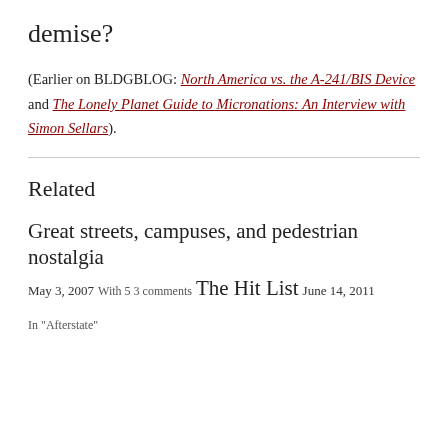demise?
(Earlier on BLDGBLOG: North America vs. the A-241/BIS Device and The Lonely Planet Guide to Micronations: An Interview with Simon Sellars).
Related
Great streets, campuses, and pedestrian nostalgia
May 3, 2007
With 53 comments
The Hit List
June 14, 2011
In "Afterstate"